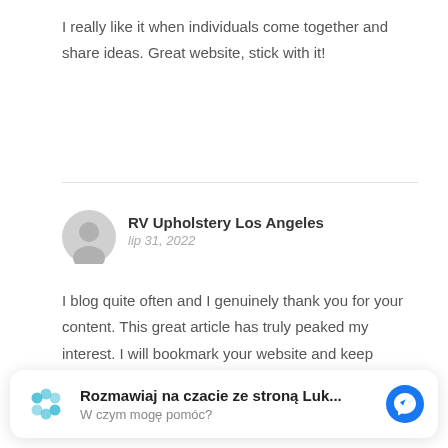I really like it when individuals come together and share ideas. Great website, stick with it!
RV Upholstery Los Angeles
lip 31, 2022
I blog quite often and I genuinely thank you for your content. This great article has truly peaked my interest. I will bookmark your website and keep checking for new details about once per week. I opted in for your Feed as
Rozmawiaj na czacie ze stroną Luk...
W czym mogę pomóc?